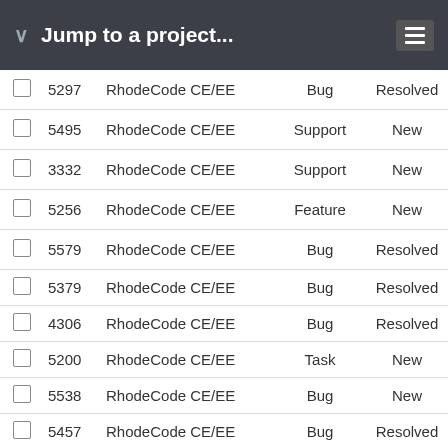Jump to a project...
|  | ID | Project | Type | Status |  |
| --- | --- | --- | --- | --- | --- |
|  | 5297 | RhodeCode CE/EE | Bug | Resolved | No |
|  | 5495 | RhodeCode CE/EE | Support | New | No |
|  | 3332 | RhodeCode CE/EE | Support | New | No |
|  | 5256 | RhodeCode CE/EE | Feature | New | No |
|  | 5579 | RhodeCode CE/EE | Bug | Resolved | No |
|  | 5379 | RhodeCode CE/EE | Bug | Resolved | No |
|  | 4306 | RhodeCode CE/EE | Bug | Resolved | No |
|  | 5200 | RhodeCode CE/EE | Task | New | No |
|  | 5538 | RhodeCode CE/EE | Bug | New | No |
|  | 5457 | RhodeCode CE/EE | Bug | Resolved | No |
|  | 4285 | RhodeCode CE/EE | Bug | New | No |